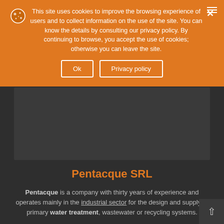This site uses cookies to improve the browsing experience of users and to collect information on the use of the site. You can know the details by consulting our privacy policy. By continuing to browse, you accept the use of cookies; otherwise you can leave the site.
Ok | Privacy policy
[Figure (photo): Dark grey rectangular image area, likely a hero/banner image for Pentacque SRL website]
Pentacque SRL
Pentacque is a company with thirty years of experience and operates mainly in the industrial sector for the design and supply of primary water treatment, wastewater or recycling systems.